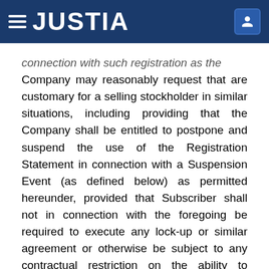JUSTIA
connection with such registration as the Company may reasonably request that are customary for a selling stockholder in similar situations, including providing that the Company shall be entitled to postpone and suspend the use of the Registration Statement in connection with a Suspension Event (as defined below) as permitted hereunder, provided that Subscriber shall not in connection with the foregoing be required to execute any lock-up or similar agreement or otherwise be subject to any contractual restriction on the ability to transfer the Subscribed Shares. In the case of the registration effected by the Company pursuant to this Subscription Agreement, the Company shall, upon reasonable